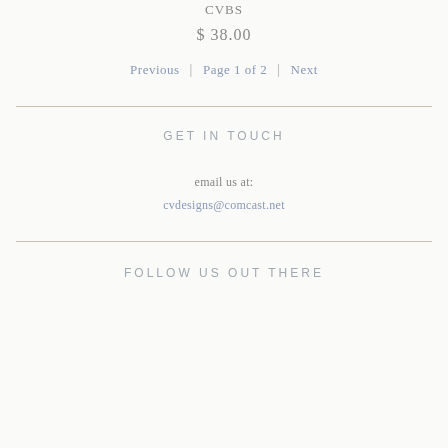CVBS
$ 38.00
Previous | Page 1 of 2 | Next
GET IN TOUCH
email us at:
cvdesigns@comcast.net
FOLLOW US OUT THERE